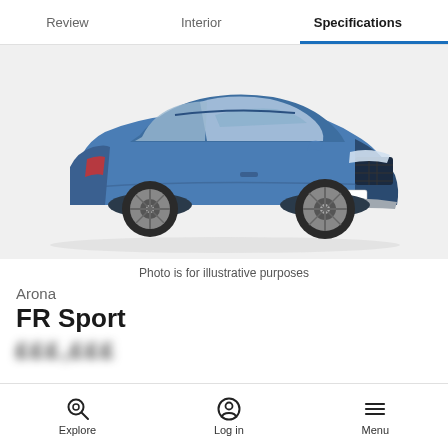Review  Interior  Specifications
[Figure (photo): Blue SEAT Arona FR Sport SUV shown in three-quarter front view on a light grey background. A 'carwow' plate is visible on the front bumper.]
Photo is for illustrative purposes
Arona
FR Sport
Explore  Log in  Menu